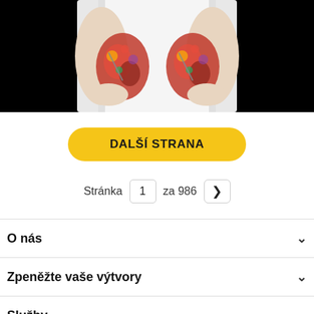[Figure (photo): A person in a white lab coat holding two anatomical kidney models against their torso, on a black background.]
DALŠÍ STRANA
Stránka 1 za 986
O nás
Zpeněžte vaše výtvory
Služby